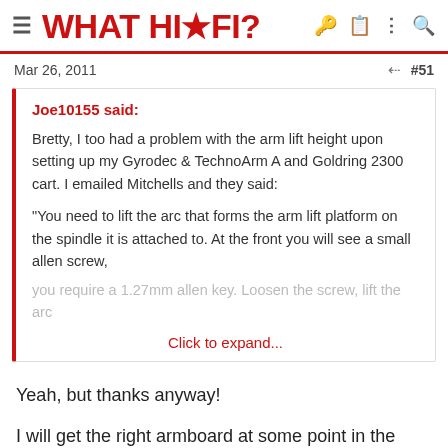WHAT HI·FI?
Mar 26, 2011  #51
Joe10155 said:

Bretty, I too had a problem with the arm lift height upon setting up my Gyrodec & TechnoArm A and Goldring 2300 cart. I emailed Mitchells and they said:

"You need to lift the arc that forms the arm lift platform on the spindle it is attached to. At the front you will see a small allen screw, you require a 1.27mm allen key. Loosen the screw, lift the arc
Click to expand...
Yeah, but thanks anyway!
I will get the right armboard at some point in the future, probably when I change cart.